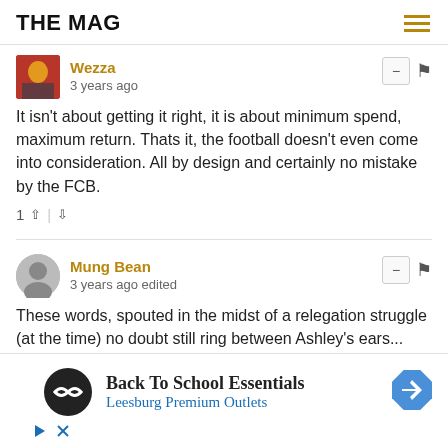THE MAG
Wezza
3 years ago
It isn't about getting it right, it is about minimum spend, maximum return. Thats it, the football doesn't even come into consideration. All by design and certainly no mistake by the FCB.
Mung Bean
3 years ago edited
These words, spouted in the midst of a relegation struggle (at the time) no doubt still ring between Ashley's ears... because the added workload, with our team's historic lack of depth during the Age of Ashley, threatens Sports Direct United's
[Figure (other): Advertisement banner: Back To School Essentials - Leesburg Premium Outlets, with logo circle and navigation arrow icon]